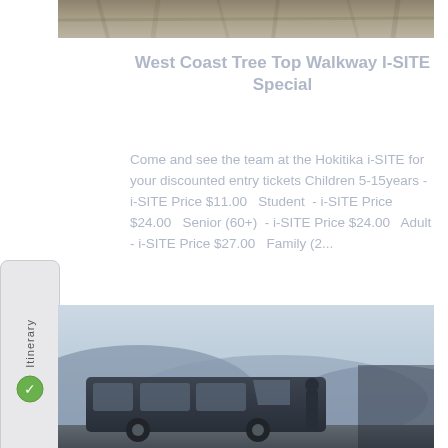[Figure (photo): Top portion of an outdoor forest/treetop walkway photo, partially cropped]
West Coast Tree Top Walkway I-SITE Special
Come and see the team at the Hokitika i-SITE for your discounted entry tickets Children 5-15years - i-SITE Price $11.00   Student  - i-SITE Price $24.00   Senior (60+)  - i-SITE Price $24.00   Adult - i-SITE Price $27.00   Family (2...
[Figure (photo): A dark van or minibus parked outdoors with mountains or hills in the background under a light sky]